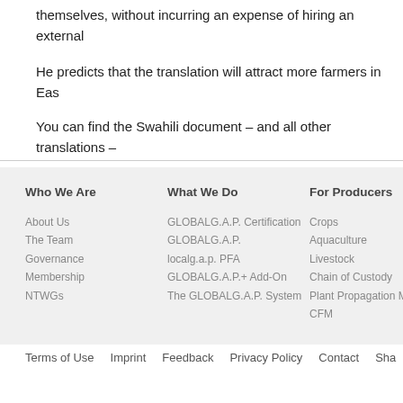themselves, without incurring an expense of hiring an external
He predicts that the translation will attract more farmers in Eas
You can find the Swahili document – and all other translations –
Who We Are
What We Do
For Producers
About Us
The Team
Governance
Membership
NTWGs
GLOBALG.A.P. Certification
GLOBALG.A.P.
localg.a.p. PFA
GLOBALG.A.P.+ Add-On
The GLOBALG.A.P. System
Crops
Aquaculture
Livestock
Chain of Custody
Plant Propagation Ma
CFM
Terms of Use   Imprint   Feedback   Privacy Policy   Contact   Sha